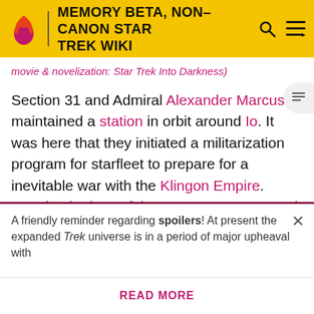MEMORY BETA, NON-CANON STAR TREK WIKI
movie & novelization: Star Trek Into Darkness)
Section 31 and Admiral Alexander Marcus maintained a station in orbit around Io. It was here that they initiated a militarization program for starfleet to prepare for a inevitable war with the Klingon Empire. Despite the loss of the USS Vengeance and Khan, Section 31 had more Dreadnought-class starships equipped with more advanced Cloaking devices than even the Romulans. (TOS movie & novelization: Star Trek Into Darkness; TOS – The Khitomer Conflict comics: "Part 1", "Part 2", "Part 4"; TOS –
A friendly reminder regarding spoilers! At present the expanded Trek universe is in a period of major upheaval with
READ MORE